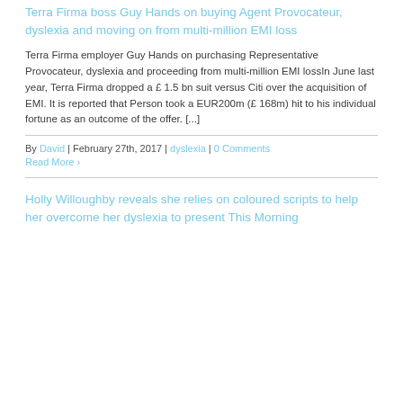Terra Firma boss Guy Hands on buying Agent Provocateur, dyslexia and moving on from multi-million EMI loss
Terra Firma employer Guy Hands on purchasing Representative Provocateur, dyslexia and proceeding from multi-million EMI lossIn June last year, Terra Firma dropped a £ 1.5 bn suit versus Citi over the acquisition of EMI. It is reported that Person took a EUR200m (£ 168m) hit to his individual fortune as an outcome of the offer. [...]
By David | February 27th, 2017 | dyslexia | 0 Comments
Read More ›
Holly Willoughby reveals she relies on coloured scripts to help her overcome her dyslexia to present This Morning